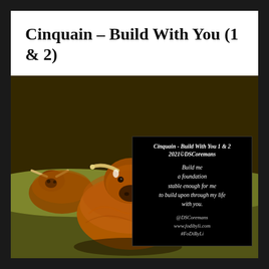Cinquain – Build With You (1 & 2)
[Figure (photo): Three Highland cattle with long shaggy orange-brown fur and horns standing in a grassy field, photographed in a high-contrast sepia/color style. The central animal faces the camera directly.]
Cinquain - Build With You 1 & 2
2021©DSCoremans

Build me
a foundation
stable enough for me
to build upon through my life
with you.

@DSCoremans
www.fodibyli.com
#FoDiByLi